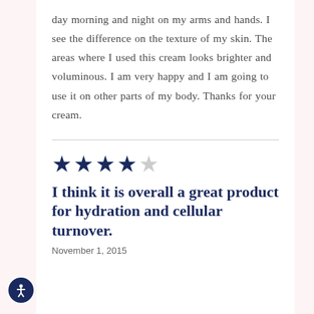day morning and night on my arms and hands. I see the difference on the texture of my skin. The areas where I used this cream looks brighter and voluminous. I am very happy and I am going to use it on other parts of my body. Thanks for your cream.
[Figure (other): 4 out of 5 stars rating: four filled dark navy stars and one empty light gray star]
I think it is overall a great product for hydration and cellular turnover.
November 1, 2015